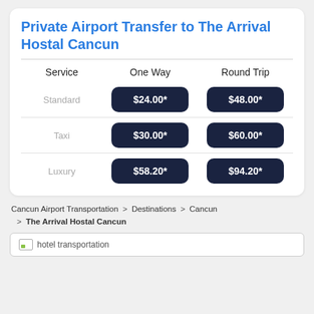Private Airport Transfer to The Arrival Hostal Cancun
| Service | One Way | Round Trip |
| --- | --- | --- |
| Standard | $24.00* | $48.00* |
| Taxi | $30.00* | $60.00* |
| Luxury | $58.20* | $94.20* |
Cancun Airport Transportation > Destinations > Cancun > The Arrival Hostal Cancun
[Figure (photo): hotel transportation image placeholder]